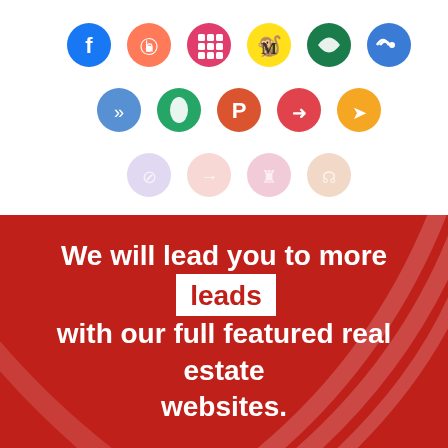[Figure (infographic): Three rows of social media and marketing platform icons (circles): Row 1: Facebook (blue), HubSpot (orange), a grid icon (red/pink), Mailchimp (yellow), a green icon, a blue icon. Row 2: double-arrow blue, green circle, ProductHunt red, send/arrow red, yellow arrow. Row 3: faded/light purple icons: slash, arrow, person, RSS — fading out to indicate more integrations.]
We will lead you to more leads with our full featured real estate websites.